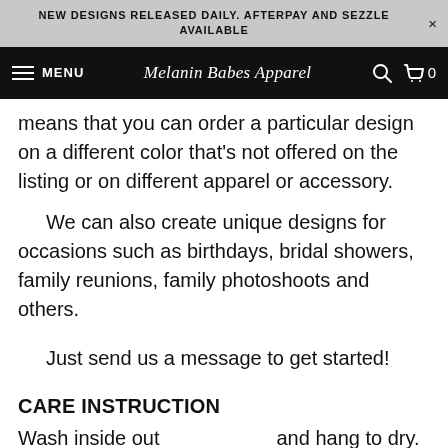NEW DESIGNS RELEASED DAILY. AFTERPAY AND SEZZLE AVAILABLE
MENU  Melanin Babes Apparel  🔍  🛒 0
means that you can order a particular design on a different color that's not offered on the listing or on different apparel or accessory.
We can also create unique designs for occasions such as birthdays, bridal showers, family reunions, family photoshoots and others.
Just send us a message to get started!
CARE INSTRUCTION
Wash inside ou[t] ... and hang to dry. Iron on low ... o preserve the print.
[Figure (screenshot): Chat widget overlay with text 'Questions? We can help. Chat with us now.' and a blue speech bubble icon on dark background]